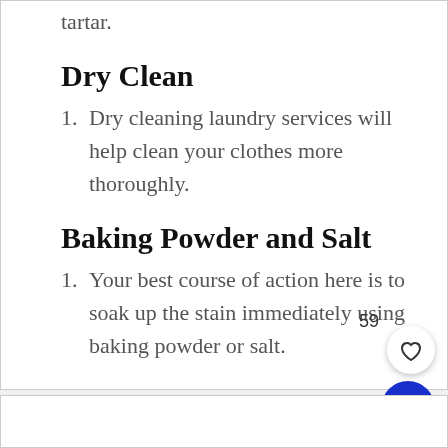tartar.
Dry Clean
1. Dry cleaning laundry services will help clean your clothes more thoroughly.
Baking Powder and Salt
1. Your best course of action here is to soak up the stain immediately using baking powder or salt.